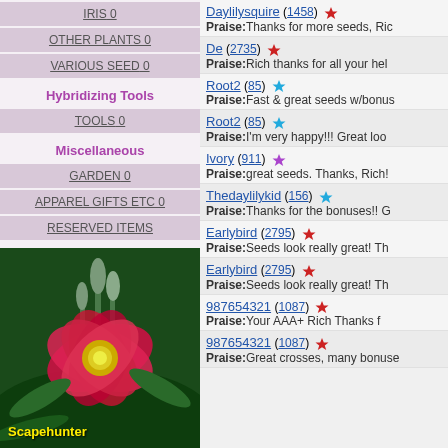IRIS 0
OTHER PLANTS 0
VARIOUS SEED 0
Hybridizing Tools
TOOLS 0
Miscellaneous
GARDEN 0
APPAREL GIFTS ETC 0
RESERVED ITEMS
[Figure (photo): Red daylily flower with yellow center, green buds and foliage, labeled Scapehunter]
Daylilysquire (1458) ★ Praise:Thanks for more seeds, Ri
De (2735) ★ Praise:Rich thanks for all your hel
Root2 (85) ★ Praise:Fast & great seeds w/bonus
Root2 (85) ★ Praise:I'm very happy!!! Great loo
Ivory (911) ★ Praise:great seeds. Thanks, Rich!
Thedaylilykid (156) ★ Praise:Thanks for the bonuses!! G
Earlybird (2795) ★ Praise:Seeds look really great! Th
Earlybird (2795) ★ Praise:Seeds look really great! Th
987654321 (1087) ★ Praise:Your AAA+ Rich Thanks f
987654321 (1087) ★ Praise:Great crosses, many bonuse